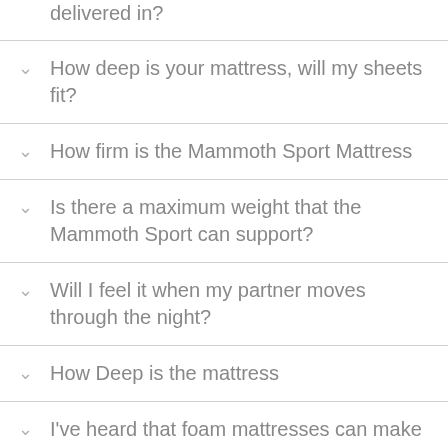delivered in?
How deep is your mattress, will my sheets fit?
How firm is the Mammoth Sport Mattress
Is there a maximum weight that the Mammoth Sport can support?
Will I feel it when my partner moves through the night?
How Deep is the mattress
I've heard that foam mattresses can make you hot during the night. Will this